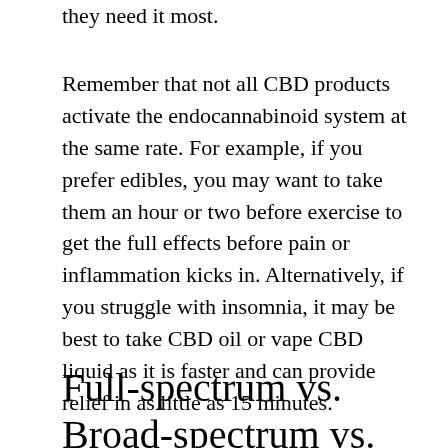they need it most.
Remember that not all CBD products activate the endocannabinoid system at the same rate. For example, if you prefer edibles, you may want to take them an hour or two before exercise to get the full effects before pain or inflammation kicks in. Alternatively, if you struggle with insomnia, it may be best to take CBD oil or vape CBD liquid as it is faster and can provide relief in as little as 15 minutes.
Full-spectrum vs. Broad-spectrum vs. Isolate